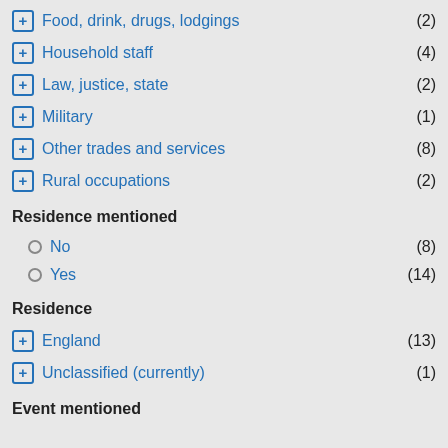Food, drink, drugs, lodgings (2)
Household staff (4)
Law, justice, state (2)
Military (1)
Other trades and services (8)
Rural occupations (2)
Residence mentioned
No (8)
Yes (14)
Residence
England (13)
Unclassified (currently) (1)
Event mentioned